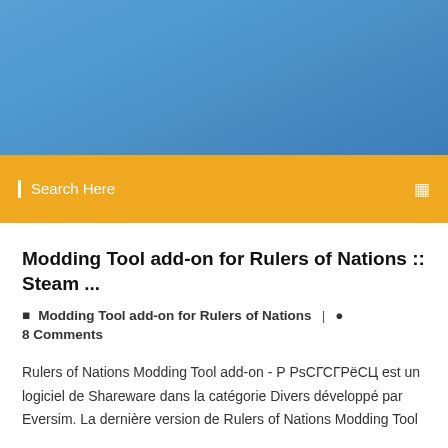[Figure (photo): Blue gradient header banner background]
Search Here
Modding Tool add-on for Rulers of Nations :: Steam ...
Modding Tool add-on for Rulers of Nations  |  8 Comments
Rulers of Nations Modding Tool add-on - Р РsСГСГРёСЦ est un logiciel de Shareware dans la catégorie Divers développé par Eversim. La dernière version de Rulers of Nations Modding Tool